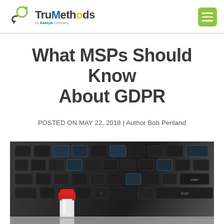TruMethods by Kaseya Company
What MSPs Should Know About GDPR
POSTED ON MAY 22, 2018 | Author Bob Penland
[Figure (photo): Close-up photo of a laptop keyboard with a red-capped bottle/pen in the foreground, keys visible with blue lighting accents.]